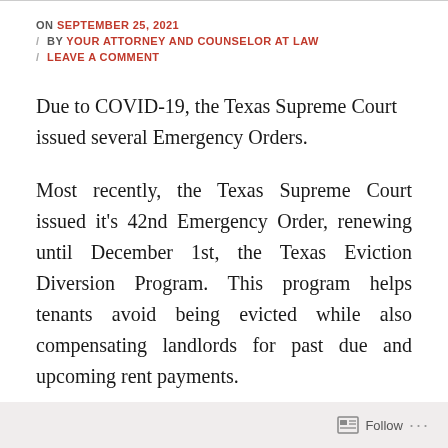ON SEPTEMBER 25, 2021
/ BY YOUR ATTORNEY AND COUNSELOR AT LAW
/ LEAVE A COMMENT
Due to COVID-19, the Texas Supreme Court issued several Emergency Orders.
Most recently, the Texas Supreme Court issued it's 42nd Emergency Order, renewing until December 1st, the Texas Eviction Diversion Program. This program helps tenants avoid being evicted while also compensating landlords for past due and upcoming rent payments.
Follow